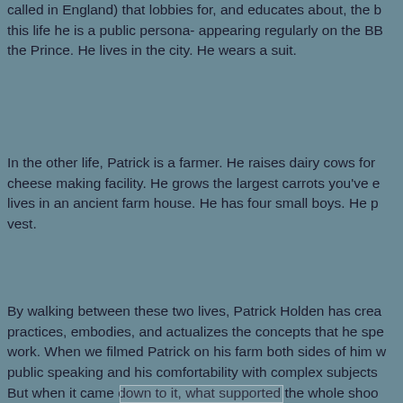called in England) that lobbies for, and educates about, the b this life he is a public persona- appearing regularly on the BB the Prince. He lives in the city. He wears a suit.
In the other life, Patrick is a farmer. He raises dairy cows for cheese making facility. He grows the largest carrots you've e lives in an ancient farm house. He has four small boys. He p vest.
By walking between these two lives, Patrick Holden has crea practices, embodies, and actualizes the concepts that he spe work. When we filmed Patrick on his farm both sides of him w public speaking and his comfortability with complex subjects But when it came down to it, what supported the whole shoo was the underlying confidence Patrick has when he puts his pulls up his bunch of carrots- the confidence of praxis, the kn truly grounded in his work.